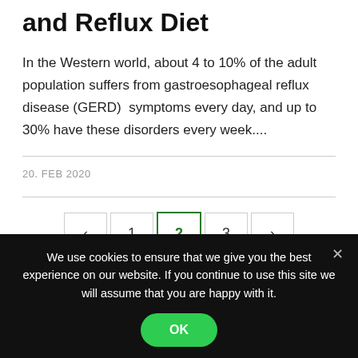and Reflux Diet
In the Western world, about 4 to 10% of the adult population suffers from gastroesophageal reflux disease (GERD)  symptoms every day, and up to 30% have these disorders every week....
20. FEB 2020
< 1 2 3 >
We use cookies to ensure that we give you the best experience on our website. If you continue to use this site we will assume that you are happy with it.
OK